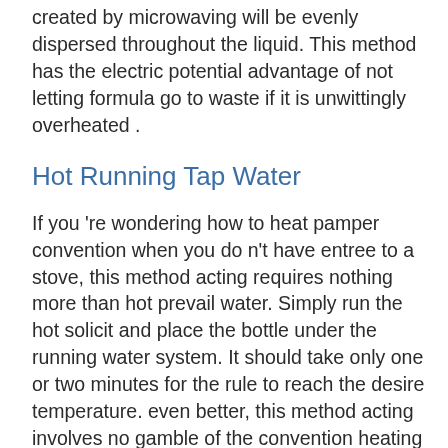created by microwaving will be evenly dispersed throughout the liquid. This method has the electric potential advantage of not letting formula go to waste if it is unwittingly overheated .
Hot Running Tap Water
If you 're wondering how to heat pamper convention when you do n't have entree to a stove, this method acting requires nothing more than hot prevail water. Simply run the hot solicit and place the bottle under the running water system. It should take only one or two minutes for the rule to reach the desire temperature. even better, this method acting involves no gamble of the convention heating unevenly or presenting a burning risk to your baby.